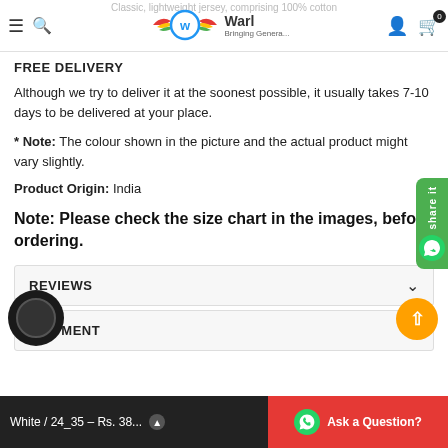Warl - Bringing Generations Together
FREE DELIVERY
Although we try to deliver it at the soonest possible, it usually takes 7-10 days to be delivered at your place.
* Note: The colour shown in the picture and the actual product might vary slightly.
Product Origin: India
Note: Please check the size chart in the images, before ordering.
REVIEWS
SHIPMENT
White / 24_35 – Rs. 38... | Ask a Question?